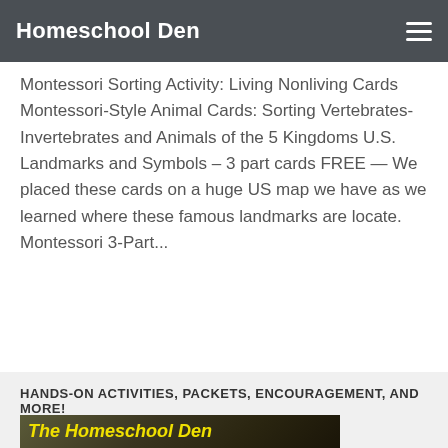Homeschool Den
Montessori Sorting Activity: Living Nonliving Cards  Montessori-Style Animal Cards: Sorting Vertebrates-Invertebrates and Animals of the 5 Kingdoms U.S. Landmarks and Symbols – 3 part cards FREE — We placed these cards on a huge US map we have as we learned where these famous landmarks are locate. Montessori 3-Part...
HANDS-ON ACTIVITIES, PACKETS, ENCOURAGEMENT, AND MORE!
[Figure (photo): Photo of children homeschooling in a cozy living room with bookshelves and a wood stove, with yellow bold italic text overlay reading 'The Homeschool Den']